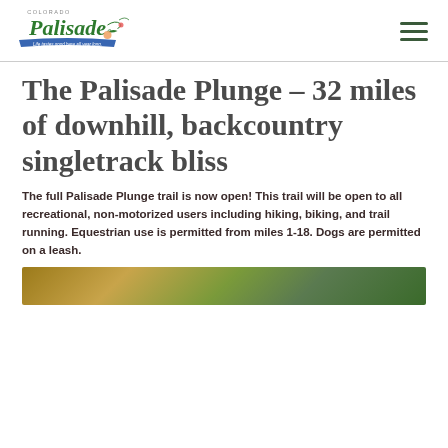[Figure (logo): Colorado Palisade logo with text 'Life tastes good here all year long']
The Palisade Plunge – 32 miles of downhill, backcountry singletrack bliss
The full Palisade Plunge trail is now open! This trail will be open to all recreational, non-motorized users including hiking, biking, and trail running. Equestrian use is permitted from miles 1-18. Dogs are permitted on a leash.
[Figure (photo): Partial photo strip at bottom showing outdoor/trail scenery]